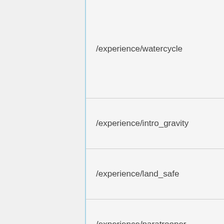/experience/watercycle
/experience/intro_gravity
/experience/land_safe
/experience/paratrooper